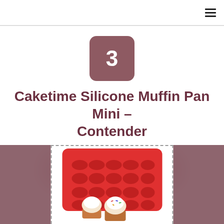3
Caketime Silicone Muffin Pan Mini – Contender
[Figure (photo): Red silicone mini muffin pan with 24 cups shown from an angle, with two small frosted cupcakes in front of it, all on a white background inside a dashed-border box.]